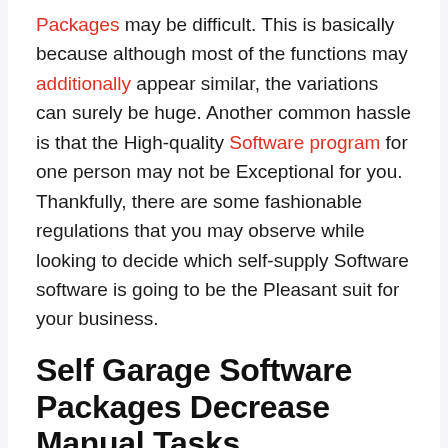Packages may be difficult. This is basically because although most of the functions may additionally appear similar, the variations can surely be huge. Another common hassle is that the High-quality Software program for one person may not be Exceptional for you. Thankfully, there are some fashionable regulations that you may observe while looking to decide which self-supply Software software is going to be the Pleasant suit for your business.
Self Garage Software Packages Decrease Manual Tasks
One of the most vital things that your self Garage Software program has to do is Limit the Responsibilities,